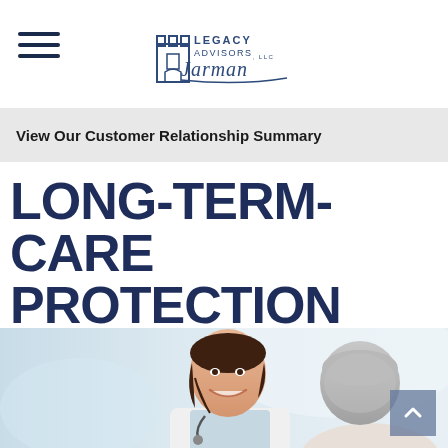Legacy Advisors LLC — Navigation header with logo and hamburger menu
View Our Customer Relationship Summary
LONG-TERM-CARE PROTECTION STRATEGIES
[Figure (photo): A smiling female healthcare professional in a white coat with a stethoscope, alongside an elderly woman with gray hair, in a bright clinical setting.]